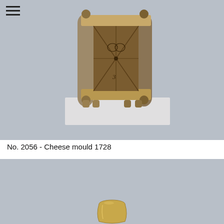[Figure (photo): A wooden cheese mould from 1728, box-shaped with carved decorative panels on the interior, sitting on a white display stand against a grey background.]
No. 2056 - Cheese mould 1728
[Figure (photo): Partial view of a small ceramic or earthenware cup/vessel photographed against a grey background, only the upper portion visible.]